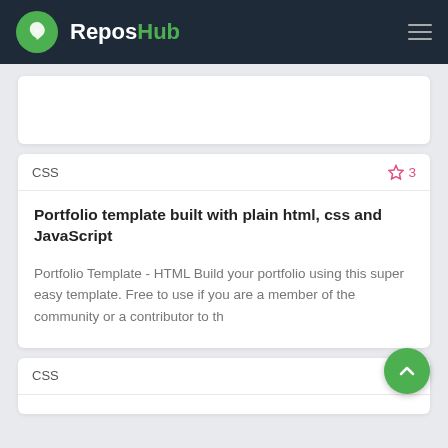ReposHub
CSS  ☆ 3
Portfolio template built with plain html, css and JavaScript
Portfolio Template - HTML Build your portfolio using this super easy template. Free to use if you are a member of the community or a contributor to th
CSS  ☆ 8